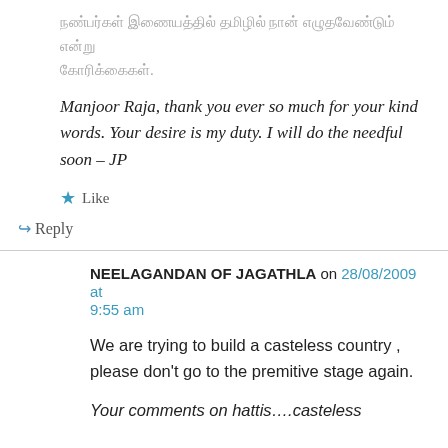[Tamil script text]
Manjoor Raja, thank you ever so much for your kind words. Your desire is my duty. I will do the needful soon – JP
★ Like
↳ Reply
NEELAGANDAN OF JAGATHLA on 28/08/2009 at 9:55 am
We are trying to build a casteless country , please don't go to the premitive stage again.
Your comments on hattis….casteless